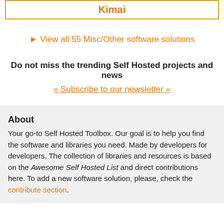Kimai
View all 55 Misc/Other software solutions
Do not miss the trending Self Hosted projects and news
» Subscribe to our newsletter «
About
Your go-to Self Hosted Toolbox. Our goal is to help you find the software and libraries you need. Made by developers for developers. The collection of libraries and resources is based on the Awesome Self Hosted List and direct contributions here. To add a new software solution, please, check the contribute section.